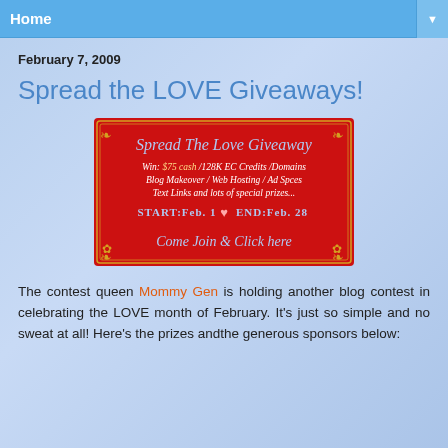Home
February 7, 2009
Spread the LOVE Giveaways!
[Figure (illustration): Red banner image for 'Spread The Love Giveaway' contest. Text on banner: Win: $75 cash / 128K EC Credits / Domains Blog Makeover / Web Hosting / Ad Spces Text Links and lots of special prizes... START: Feb. 1 [heart] END: Feb. 28. Come Join & Click here]
The contest queen Mommy Gen is holding another blog contest in celebrating the LOVE month of February. It's just so simple and no sweat at all! Here's the prizes andthe generous sponsors below: